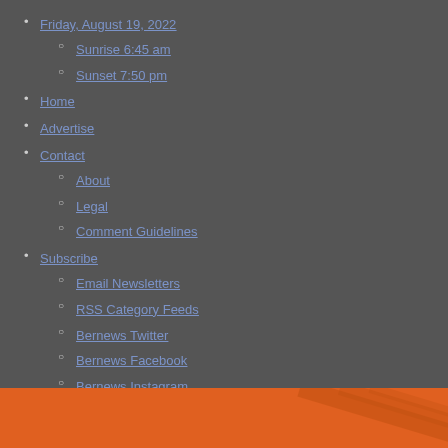Friday, August 19, 2022
Sunrise 6:45 am
Sunset 7:50 pm
Home
Advertise
Contact
About
Legal
Comment Guidelines
Subscribe
Email Newsletters
RSS Category Feeds
Bernews Twitter
Bernews Facebook
Bernews Instagram
Bernews LinkedIn
Bernews Periscope
Bernews Soundcloud
Bernews YouTube
Bernews Chrome Extension
BDADay.com
ForeverBermuda.com
BermudaCovid.com
Bernews.TV
[Figure (illustration): Orange banner at the bottom with diagonal stripe lines]